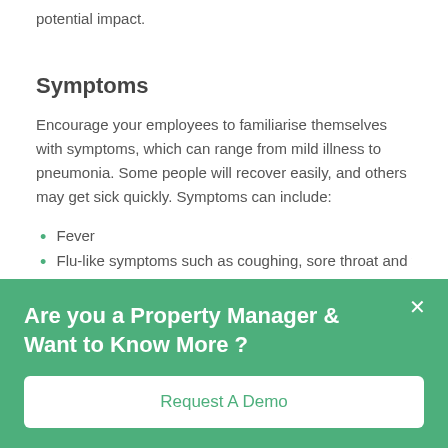potential impact.
Symptoms
Encourage your employees to familiarise themselves with symptoms, which can range from mild illness to pneumonia. Some people will recover easily, and others may get sick quickly. Symptoms can include:
Fever
Flu-like symptoms such as coughing, sore throat and fatigue
Are you a Property Manager & Want to Know More ?
Request A Demo